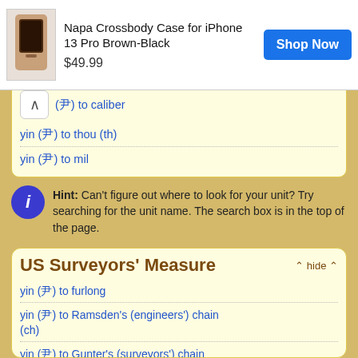[Figure (screenshot): Advertisement banner for Noémie Genuine Leather Crossbody Case showing product image, product name 'Napa Crossbody Case for iPhone 13 Pro Brown-Black', price '$49.99', and 'Shop Now' button]
(尹) to caliber
yin (尹) to thou (th)
yin (尹) to mil
Hint: Can't figure out where to look for your unit? Try searching for the unit name. The search box is in the top of the page.
US Surveyors' Measure
yin (尹) to furlong
yin (尹) to Ramsden's (engineers') chain (ch)
yin (尹) to Gunter's (surveyors') chain (ch)
yin (尹) to Gurley's chain (ch)
yin (尹) to Gunter's (surveyors') pole